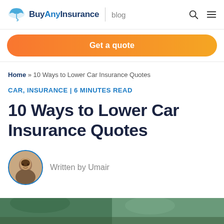BuyAnyInsurance | blog
Get a quote
Home » 10 Ways to Lower Car Insurance Quotes
CAR, INSURANCE | 6 MINUTES READ
10 Ways to Lower Car Insurance Quotes
Written by Umair
[Figure (photo): Bottom strip showing a outdoor/nature scene photograph]